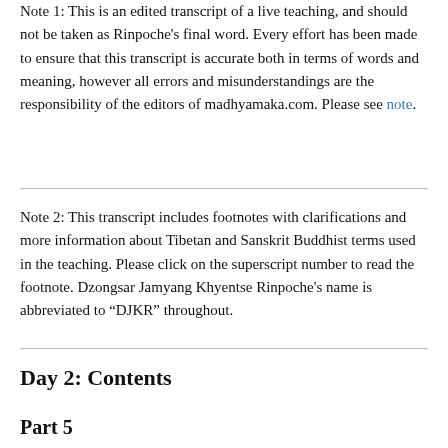Note 1: This is an edited transcript of a live teaching, and should not be taken as Rinpoche's final word. Every effort has been made to ensure that this transcript is accurate both in terms of words and meaning, however all errors and misunderstandings are the responsibility of the editors of madhyamaka.com. Please see note.
Note 2: This transcript includes footnotes with clarifications and more information about Tibetan and Sanskrit Buddhist terms used in the teaching. Please click on the superscript number to read the footnote. Dzongsar Jamyang Khyentse Rinpoche's name is abbreviated to “DJKR” throughout.
Day 2: Contents
Part 5